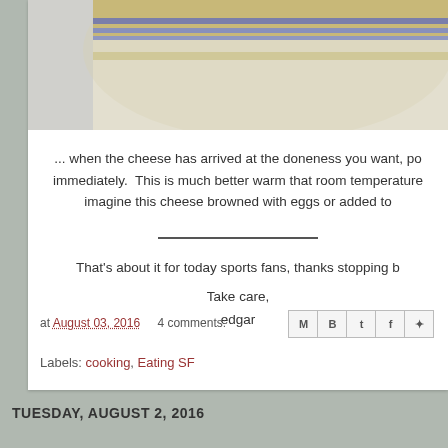[Figure (photo): Top portion of a ceramic bowl with blue and tan stripes, viewed from above, on a white/cream background]
... when the cheese has arrived at the doneness you want, po immediately.  This is much better warm that room temperature imagine this cheese browned with eggs or added to
That's about it for today sports fans, thanks stopping b
Take care,
edgar
at August 03, 2016   4 comments:
Labels: cooking, Eating SF
TUESDAY, AUGUST 2, 2016